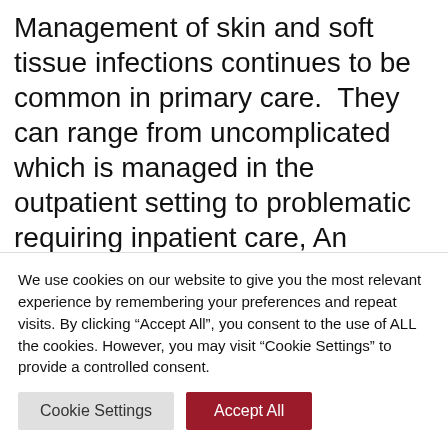Management of skin and soft tissue infections continues to be common in primary care.  They can range from uncomplicated which is managed in the outpatient setting to problematic requiring inpatient care, An evidence-based approach to diagnosis and treatment from JAMA dermatology, Clinical Infectious Diseases, CDC guidance published in the MMWR, and NEJM will be
We use cookies on our website to give you the most relevant experience by remembering your preferences and repeat visits. By clicking “Accept All”, you consent to the use of ALL the cookies. However, you may visit “Cookie Settings” to provide a controlled consent.